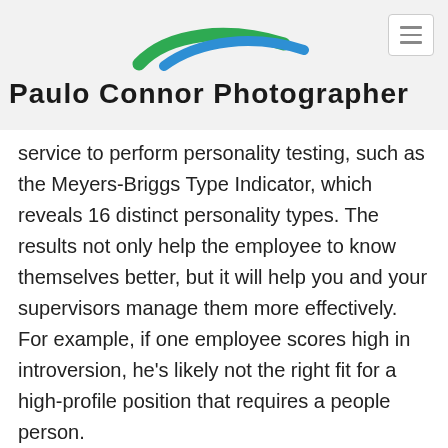[Figure (logo): Paulo Connor Photographer logo with green and blue swoosh curves above the text]
service to perform personality testing, such as the Meyers-Briggs Type Indicator, which reveals 16 distinct personality types. The results not only help the employee to know themselves better, but it will help you and your supervisors manage them more effectively. For example, if one employee scores high in introversion, he's likely not the right fit for a high-profile position that requires a people person.